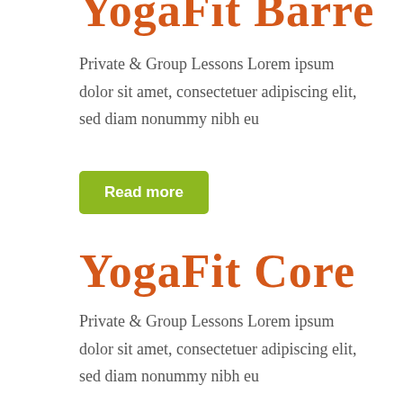YogaFit Barre
Private & Group Lessons Lorem ipsum dolor sit amet, consectetuer adipiscing elit, sed diam nonummy nibh eu
Read more
YogaFit Core
Private & Group Lessons Lorem ipsum dolor sit amet, consectetuer adipiscing elit, sed diam nonummy nibh eu